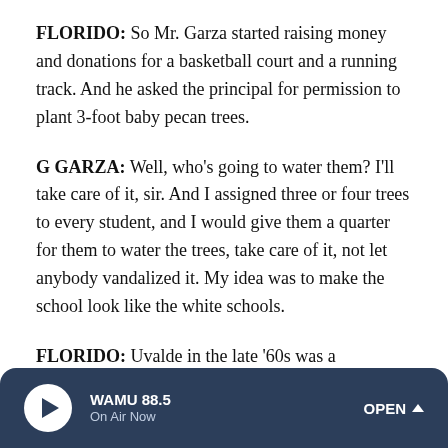FLORIDO: So Mr. Garza started raising money and donations for a basketball court and a running track. And he asked the principal for permission to plant 3-foot baby pecan trees.
G GARZA: Well, who's going to water them? I'll take care of it, sir. And I assigned three or four trees to every student, and I would give them a quarter for them to water the trees, take care of it, not let anybody vandalized it. My idea was to make the school look like the white schools.
FLORIDO: Uvalde in the late '60s was a segregated agricultural town. Its white residents, farmers and business owners lived on the east side and sent their kids to Dalton
WAMU 88.5 On Air Now OPEN